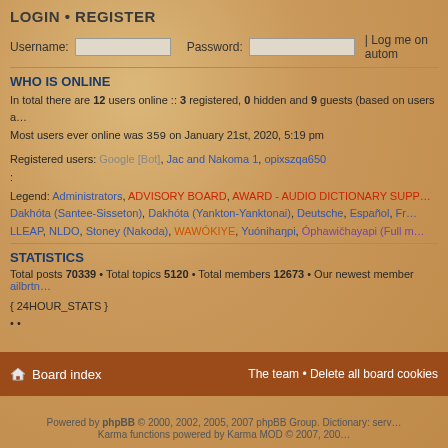LOGIN • REGISTER
Username:  Password:  | Log me on autom
WHO IS ONLINE
In total there are 12 users online :: 3 registered, 0 hidden and 9 guests (based on users a…
Most users ever online was 359 on January 21st, 2020, 5:19 pm
Registered users: Google [Bot], Jac and Nakoma 1, opixszqa650
Legend: Administrators, ADVISORY BOARD, AWARD - AUDIO DICTIONARY SUPP…, Dakhóta (Santee-Sisseton), Dakhóta (Yankton-Yanktonai), Deutsche, Español, Fr…, LLEAP, NLDO, Stoney (Nakoda), WAWÓKIYE, Yuónihaŋpi, Óphawičhayapi (Full m…
STATISTICS
Total posts 70339 • Total topics 5120 • Total members 12673 • Our newest member ailbrtn…
{ 24HOUR_STATS }
• •
Board index
The team • Delete all board cookies
Powered by phpBB © 2000, 2002, 2005, 2007 phpBB Group. Dictionary: serv…
Karma functions powered by Karma MOD © 2007, 200…